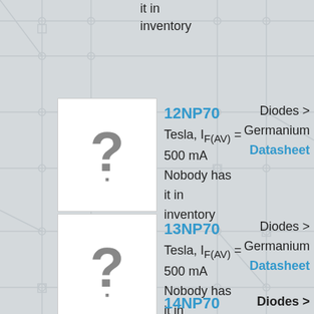it in inventory
[Figure (other): Component thumbnail placeholder with question mark for 12NP70]
12NP70 Tesla, I_F(AV) = 500 mA Nobody has it in inventory
Diodes > Germanium Datasheet
[Figure (other): Component thumbnail placeholder with question mark for 13NP70]
13NP70 Tesla, I_F(AV) = 500 mA Nobody has it in inventory
Diodes > Germanium Datasheet
14NP70
Diodes >